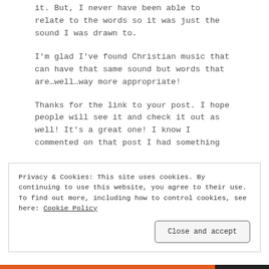it. But, I never have been able to relate to the words so it was just the sound I was drawn to.
I'm glad I've found Christian music that can have that same sound but words that are…well…way more appropriate!
Thanks for the link to your post. I hope people will see it and check it out as well! It's a great one! I know I commented on that post I had something
Privacy & Cookies: This site uses cookies. By continuing to use this website, you agree to their use. To find out more, including how to control cookies, see here: Cookie Policy
Close and accept